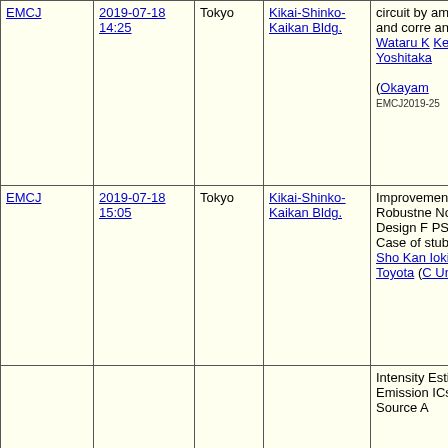| Society | Date/Time | Location | Venue | Title/Authors |
| --- | --- | --- | --- | --- |
| EMCJ | 2019-07-18 14:25 | Tokyo | Kikai-Shinko-Kaikan Bldg. | circuit by amplitude and corre analysis Wataru k Kengo Ic Yoshitaka (Okayam EMCJ2019-25 |
| EMCJ | 2019-07-18 15:05 | Tokyo | Kikai-Shinko-Kaikan Bldg. | Improvement Robustness Normalized Design R PSD Me Case of stub EBO Sho Kan Iokibe, Y Toyota (C Univ.) |
|  |  |  |  | Intensity Estimation Emission ICs by U Source A |